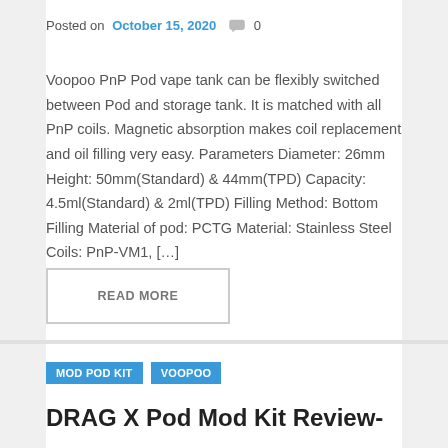Posted on October 15, 2020  💬 0
Voopoo PnP Pod vape tank can be flexibly switched between Pod and storage tank. It is matched with all PnP coils. Magnetic absorption makes coil replacement and oil filling very easy. Parameters Diameter: 26mm Height: 50mm(Standard) & 44mm(TPD) Capacity: 4.5ml(Standard) & 2ml(TPD) Filling Method: Bottom Filling Material of pod: PCTG Material: Stainless Steel Coils: PnP-VM1, […]
READ MORE
MOD POD KIT   VOOPOO
DRAG X Pod Mod Kit Review-